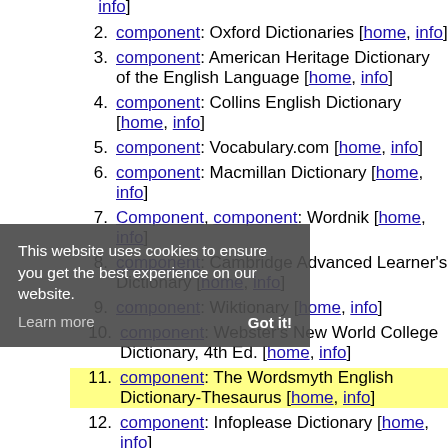info]
component: Oxford Dictionaries [home, info]
component: American Heritage Dictionary of the English Language [home, info]
component: Collins English Dictionary [home, info]
component: Vocabulary.com [home, info]
component: Macmillan Dictionary [home, info]
Component, component: Wordnik [home, info]
component: Cambridge Advanced Learner's Dictionary [home, info]
component: Wiktionary [home, info]
component: Webster's New World College Dictionary, 4th Ed. [home, info]
component: The Wordsmyth English Dictionary-Thesaurus [home, info]
component: Infoplease Dictionary [home, info]